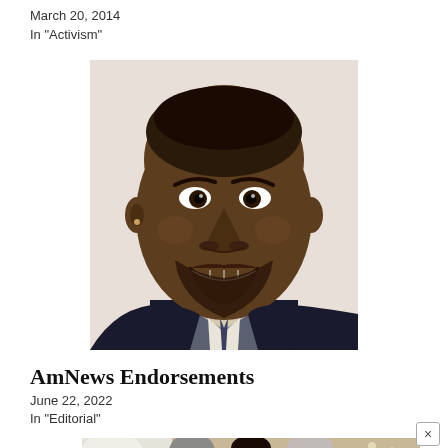March 20, 2014
In "Activism"
[Figure (photo): Close-up portrait of a smiling Black man in a dark suit and tie, looking slightly to the left of camera]
AmNews Endorsements
June 22, 2022
In "Editorial"
[Figure (photo): Photo of three smiling elderly people, two with gray hair, indoors with blurred background]